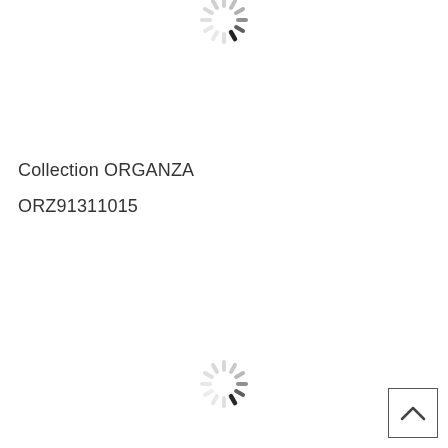[Figure (other): Loading spinner icon (circular dashed/spoked wheel) at top center, partially visible]
Collection ORGANZA
ORZ91311015
[Figure (other): Loading spinner icon (circular dashed/spoked wheel) at bottom center]
[Figure (other): Back-to-top button with chevron/caret up arrow, bottom right corner]